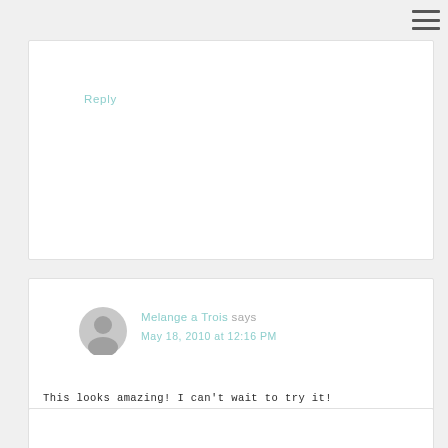Reply
Melange a Trois says
May 18, 2010 at 12:16 PM
This looks amazing! I can't wait to try it!
Reply